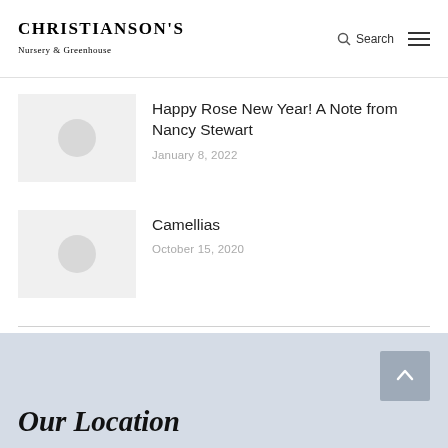CHRISTIANSON'S Nursery & Greenhouse | Search
Happy Rose New Year! A Note from Nancy Stewart
January 8, 2022
Camellias
October 15, 2020
Our Location